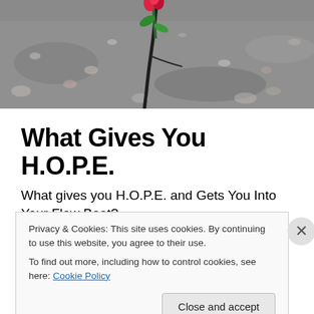[Figure (photo): A red rose growing through a crack in asphalt/concrete pavement, close-up photograph.]
What Gives You H.O.P.E.
What gives you H.O.P.E. and Gets You Into Your Flow Boat?
I like to play with words and make acronyms out of them
Privacy & Cookies: This site uses cookies. By continuing to use this website, you agree to their use.
To find out more, including how to control cookies, see here: Cookie Policy